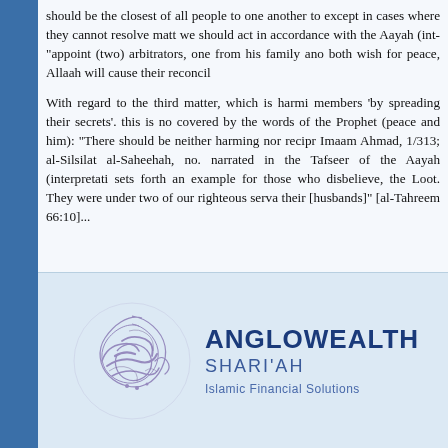should be the closest of all people to one another to except in cases where they cannot resolve matters we should act in accordance with the Aayah (interpretation): "appoint (two) arbitrators, one from his family and both wish for peace, Allaah will cause their reconciliation."
With regard to the third matter, which is harming members 'by spreading their secrets'. this is covered by the words of the Prophet (peace and blessings be upon him): "There should be neither harming nor reciprocating harm." Imaam Ahmad, 1/313; al-Silsilat al-Saheehah, no. 250. It is also narrated in the Tafseer of the Aayah (interpretation): "Allaah sets forth an example for those who disbelieve, the wife of Nooh and Loot. They were under two of our righteous servants but they betrayed their [husbands]" [al-Tahreem 66:10]...
[Figure (logo): Anglowealth Shari'ah Islamic Financial Solutions logo with Arabic calligraphy graphic on the left and company name text on the right]